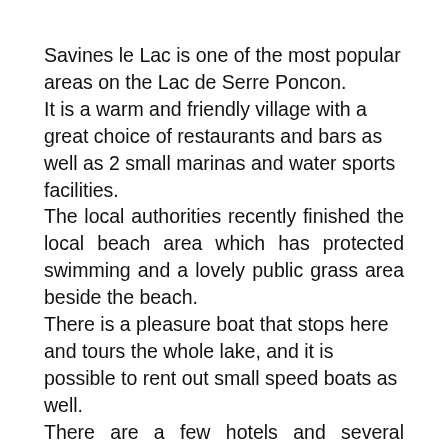Savines le Lac is one of the most popular areas on the Lac de Serre Poncon. It is a warm and friendly village with a great choice of restaurants and bars as well as 2 small marinas and water sports facilities. The local authorities recently finished the local beach area which has protected swimming and a lovely public grass area beside the beach. There is a pleasure boat that stops here and tours the whole lake, and it is possible to rent out small speed boats as well. There are a few hotels and several campsites, though more property owners are now seeing the benefits of renting out quality family accommodation.
The area is also only a few kilometres away from a choice of ski stations including Les Orres,